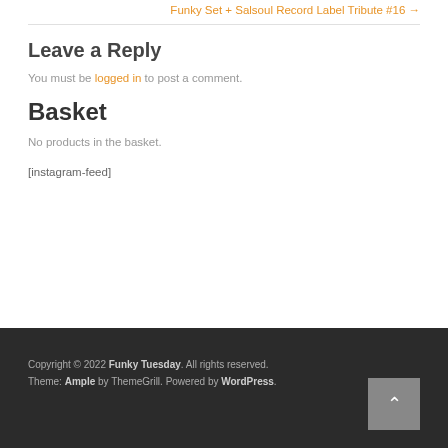Funky Set + Salsoul Record Label Tribute #16 →
Leave a Reply
You must be logged in to post a comment.
Basket
No products in the basket.
[instagram-feed]
Copyright © 2022 Funky Tuesday. All rights reserved. Theme: Ample by ThemeGrill. Powered by WordPress.